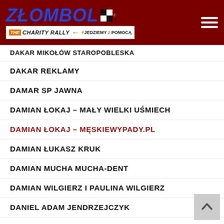[Figure (logo): Złombol The Charity Rally logo with blue bold italic text, checkered flag pattern, orange tagline bar, and #JEDZIEMY z POMOCĄ hashtag on dark red header background]
DAKAR MIKOŁÓW STAROPOBLESKA
DAKAR REKLAMY
DAMAR SP JAWNA
DAMIAN ŁOKAJ - MAŁY WIELKI UŚMIECH
DAMIAN ŁOKAJ - MĘSKIEWYPADY.PL
DAMIAN ŁUKASZ KRUK
DAMIAN MUCHA MUCHA-DENT
DAMIAN WILGIERZ I PAULINA WILGIERZ
DANIEL ADAM JENDRZEJCZYK
DANIEL PAWLAK